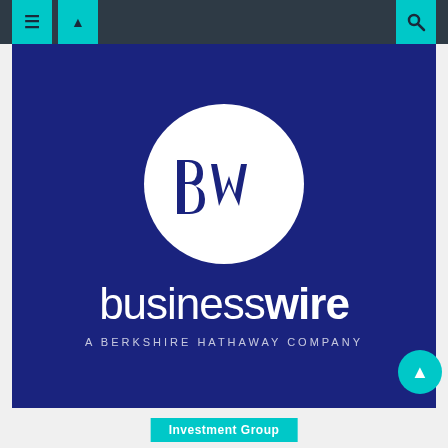Navigation bar with icons
[Figure (logo): Business Wire logo on dark navy blue background. White circle containing stylized 'bw' monogram in navy. Below the circle, 'businesswire' in white lowercase letters (business in light weight, wire in bold). Tagline 'A BERKSHIRE HATHAWAY COMPANY' in spaced uppercase gray/white text beneath.]
Investment Group